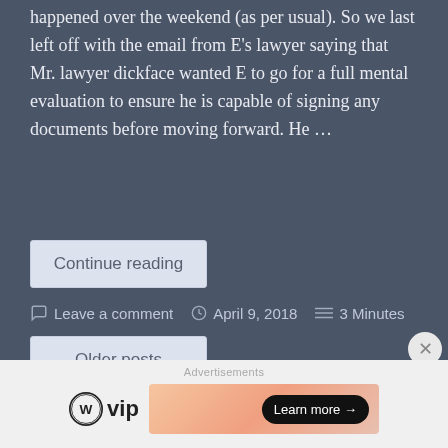happened over the weekend (as per usual). So we last left off with the email from E's lawyer saying that Mr. lawyer dickface wanted E to go for a full mental evaluation to ensure he is capable of signing any documents before moving forward. He …
Continue reading
Leave a comment   April 9, 2018   3 Minutes
Older posts
Advertisements
[Figure (logo): WordPress VIP logo with circular WP icon and 'vip' text]
[Figure (infographic): Advertisement banner with gradient orange/pink background and 'Learn more →' button in black pill shape]